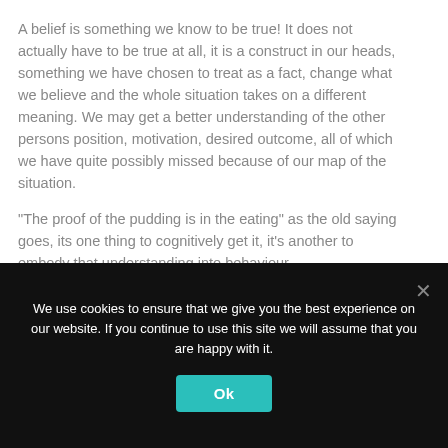A belief is something we know to be true! It does not actually have to be true at all, it is a construct in our heads, something we have chosen to treat as a fact, change what we believe and the whole situation takes on a different meaning. We may get a better understanding of the other persons position, motivation, desired outcome, all of which we have quite possibly missed because of our map of the situation.
“The proof of the pudding is in the eating” as the old saying goes, its one thing to cognitively get it, it’s another to embody that understanding into behaviour.
The toughest of learnings are our biggest opportunity for growth.
You can take a look at the Developing Emotional Intelligence
We use cookies to ensure that we give you the best experience on our website. If you continue to use this site we will assume that you are happy with it.